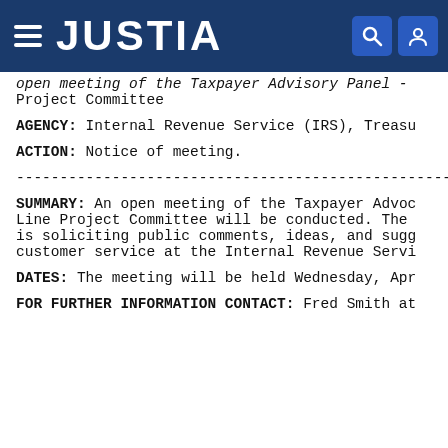JUSTIA
open meeting of the Taxpayer Advocacy Panel - Line Project Committee
AGENCY: Internal Revenue Service (IRS), Treasu
ACTION: Notice of meeting.
------------------------------------------------------------------------
SUMMARY: An open meeting of the Taxpayer Advoc... Line Project Committee will be conducted. The ... is soliciting public comments, ideas, and sugg... customer service at the Internal Revenue Servi
DATES: The meeting will be held Wednesday, Apr
FOR FURTHER INFORMATION CONTACT: Fred Smith at